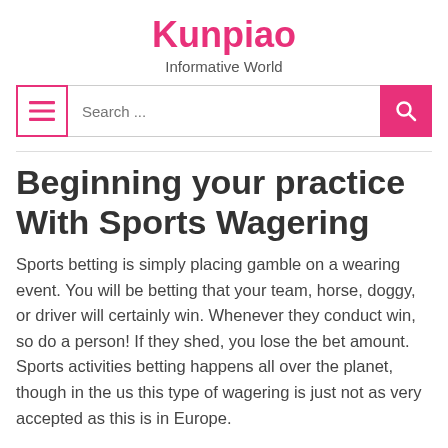Kunpiao
Informative World
Beginning your practice With Sports Wagering
Sports betting is simply placing gamble on a wearing event. You will be betting that your team, horse, doggy, or driver will certainly win. Whenever they conduct win, so do a person! If they shed, you lose the bet amount. Sports activities betting happens all over the planet, though in the us this type of wagering is just not as very accepted as this is in Europe.